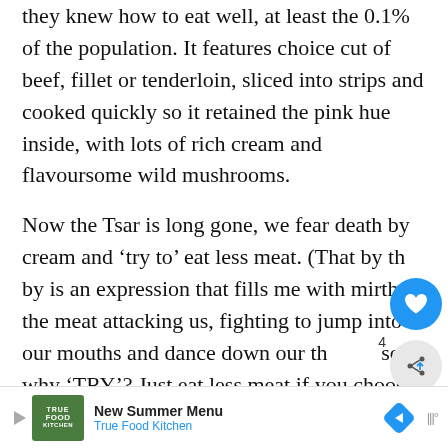they knew how to eat well, at least the 0.1% of the population. It features choice cut of beef, fillet or tenderloin, sliced into strips and cooked quickly so it retained the pink hue inside, with lots of rich cream and flavoursome wild mushrooms.
Now the Tsar is long gone, we fear death by cream and ‘try to’ eat less meat. (That by the by is an expression that fills me with mirth: the meat attacking us, fighting to jump into our mouths and dance down our th[roats], so why ‘TRY’? Just eat less meat if you choose to.)